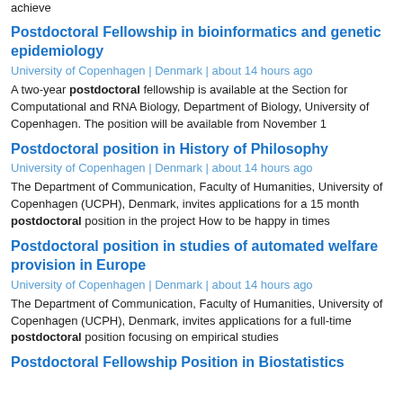achieve
Postdoctoral Fellowship in bioinformatics and genetic epidemiology
University of Copenhagen | Denmark | about 14 hours ago
A two-year postdoctoral fellowship is available at the Section for Computational and RNA Biology, Department of Biology, University of Copenhagen. The position will be available from November 1
Postdoctoral position in History of Philosophy
University of Copenhagen | Denmark | about 14 hours ago
The Department of Communication, Faculty of Humanities, University of Copenhagen (UCPH), Denmark, invites applications for a 15 month postdoctoral position in the project How to be happy in times
Postdoctoral position in studies of automated welfare provision in Europe
University of Copenhagen | Denmark | about 14 hours ago
The Department of Communication, Faculty of Humanities, University of Copenhagen (UCPH), Denmark, invites applications for a full-time postdoctoral position focusing on empirical studies
Postdoctoral Fellowship Position in Biostatistics